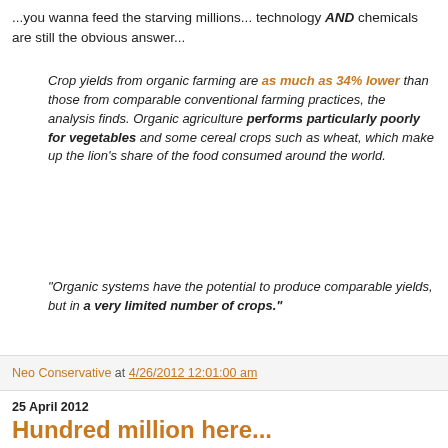...you wanna feed the starving millions... technology AND chemicals are still the obvious answer...
Crop yields from organic farming are as much as 34% lower than those from comparable conventional farming practices, the analysis finds. Organic agriculture performs particularly poorly for vegetables and some cereal crops such as wheat, which make up the lion’s share of the food consumed around the world.
"Organic systems have the potential to produce comparable yields, but in a very limited number of crops."
Neo Conservative at 4/26/2012 12:01:00 am
25 April 2012
Hundred million here...